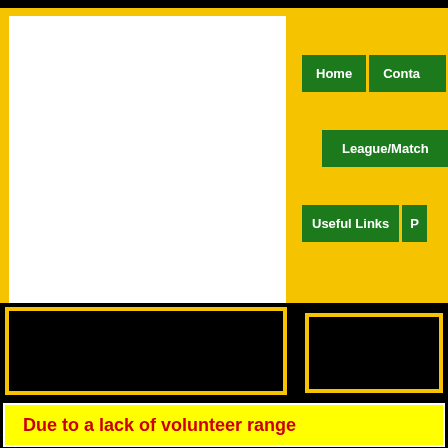[Figure (screenshot): Website navigation screenshot showing a sports club website. Top left has a large white content box with yellow border. Top right has green navigation buttons: 'Home', 'Contact' (partially visible), 'League/Match' (partially visible), 'Useful Links', and 'P' (partially visible). Below is a black band. Bottom section shows a yellow announcement box.]
Home
Contact
League/Match
Useful Links
Due to a lack of volunteer range